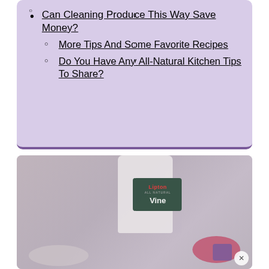Can Cleaning Produce This Way Save Money?
More Tips And Some Favorite Recipes
Do You Have Any All-Natural Kitchen Tips To Share?
[Figure (photo): A bottle of Lipton All Natural Vinegar product on a counter, with berries/produce visible in a bowl nearby. The image appears to be a blog or recipe website photograph.]